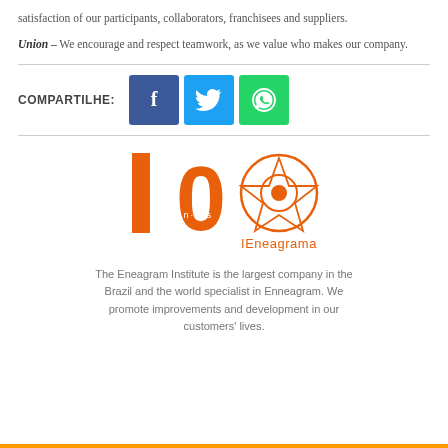satisfaction of our participants, collaborators, franchisees and suppliers.
Union – We encourage and respect teamwork, as we value who makes our company.
[Figure (infographic): Social share buttons row: Facebook (blue), Twitter (light blue), WhatsApp (green) icons with label COMPARTILHE:]
[Figure (logo): IEneagrama 10 anos logo — orange '10' with enneagram symbol and text IEneagrama]
The Eneagram Institute is the largest company in the Brazil and the world specialist in Enneagram. We promote improvements and development in our customers' lives.